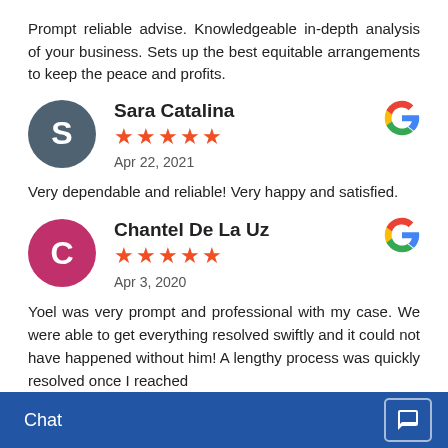Prompt reliable advise. Knowledgeable in-depth analysis of your business. Sets up the best equitable arrangements to keep the peace and profits.
Sara Catalina
★★★★★
Apr 22, 2021
Very dependable and reliable! Very happy and satisfied.
Chantel De La Uz
★★★★★
Apr 3, 2020
Yoel was very prompt and professional with my case. We were able to get everything resolved swiftly and it could not have happened without him! A lengthy process was quickly resolved once I reached